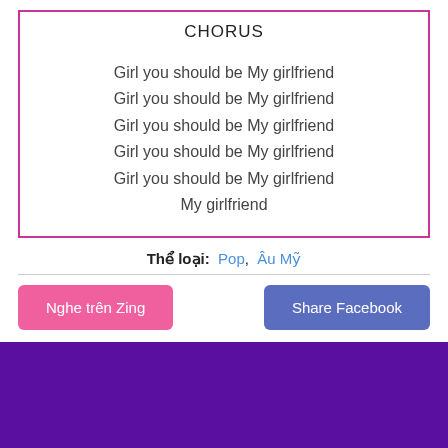CHORUS
Girl you should be My girlfriend
Girl you should be My girlfriend
Girl you should be My girlfriend
Girl you should be My girlfriend
Girl you should be My girlfriend
My girlfriend
Thể loại:  Pop,  Âu Mỹ
Nghe trên Zing
Share Facebook
[Figure (other): Purple/violet background banner at bottom of page]